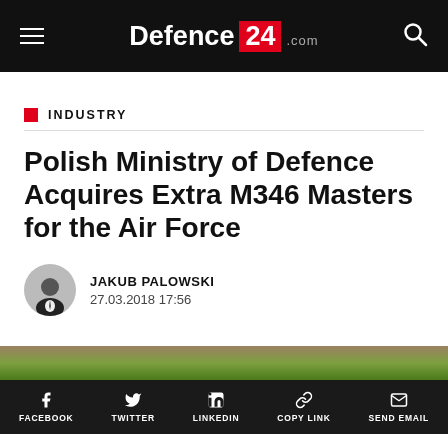Defence24.com
INDUSTRY
Polish Ministry of Defence Acquires Extra M346 Masters for the Air Force
JAKUB PALOWSKI
27.03.2018 17:56
[Figure (photo): Partial photo strip showing a green field/grass — bottom of outdoor aircraft scene]
FACEBOOK  TWITTER  LINKEDIN  COPY LINK  SEND EMAIL